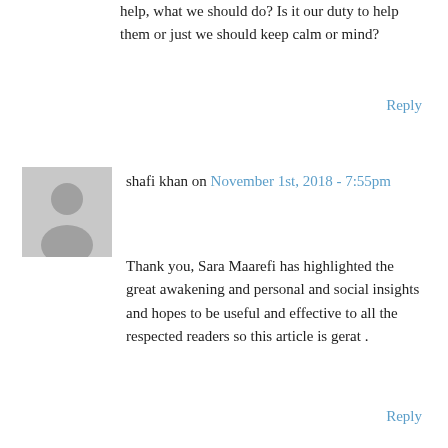help, what we should do? Is it our duty to help them or just we should keep calm or mind?
Reply
[Figure (illustration): Grey avatar/user placeholder icon showing silhouette of person]
shafi khan on November 1st, 2018 - 7:55pm
Thank you, Sara Maarefi has highlighted the great awakening and personal and social insights and hopes to be useful and effective to all the respected readers so this article is gerat .
Reply